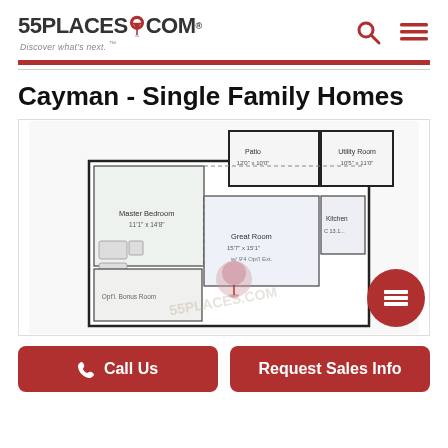55PLACES.COM — Discover what's next.™
Cayman - Single Family Homes
[Figure (engineering-diagram): Floor plan of the Cayman - Single Family Homes model showing Master Bedroom, Great Room, Kitchen, Patio, Utility Room rooms with dimensions]
Call Us
Request Sales Info